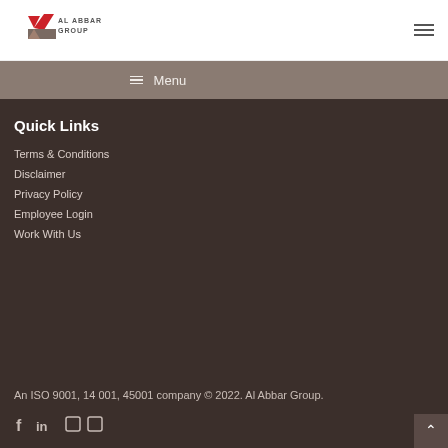[Figure (logo): Al Abbar Group logo with red and grey geometric shapes and text]
Menu
Quick Links
Terms & Conditions
Disclaimer
Privacy Policy
Employee Login
Work With Us
An ISO 9001, 14001, 45001 company © 2022. Al Abbar Group.
[Figure (other): Social media icons: Facebook, LinkedIn, and two other platform icons]